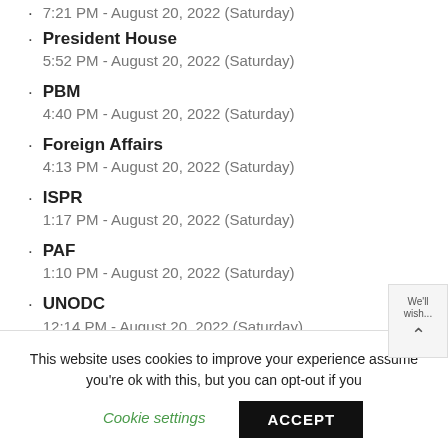7:21 PM - August 20, 2022 (Saturday)
President House
5:52 PM - August 20, 2022 (Saturday)
PBM
4:40 PM - August 20, 2022 (Saturday)
Foreign Affairs
4:13 PM - August 20, 2022 (Saturday)
ISPR
1:17 PM - August 20, 2022 (Saturday)
PAF
1:10 PM - August 20, 2022 (Saturday)
UNODC
12:14 PM - August 20, 2022 (Saturday)
Senate of Pakistan
This website uses cookies to improve your experience assume you're ok with this, but you can opt-out if you
Cookie settings
ACCEPT